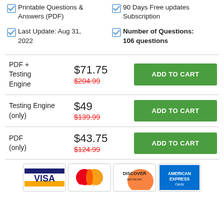Printable Questions & Answers (PDF)
90 Days Free updates Subscription
Last Update: Aug 31, 2022
Number of Questions: 106 questions
| Product | Price | Action |
| --- | --- | --- |
| PDF + Testing Engine | $71.75 / $204.99 | ADD TO CART |
| Testing Engine (only) | $49 / $139.99 | ADD TO CART |
| PDF (only) | $43.75 / $124.99 | ADD TO CART |
[Figure (other): Payment method logos: VISA, MasterCard, Discover Network, American Express Cards]